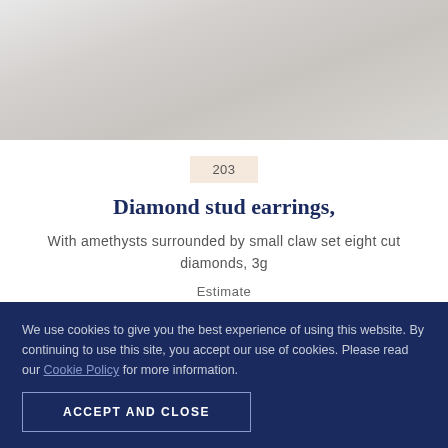[Figure (photo): Photograph of diamond stud earrings with amethysts, light grey/beige background]
203
Diamond stud earrings,
With amethysts surrounded by small claw set eight cut diamonds, 3g
Estimate
£60-£80
We use cookies to give you the best experience of using this website. By continuing to use this site, you accept our use of cookies. Please read our Cookie Policy for more information.
ACCEPT AND CLOSE